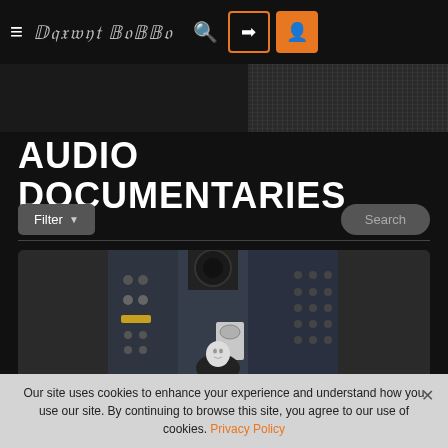[Figure (screenshot): Website navigation bar with hamburger menu, Frank Zappa signature logo, search icon, login button (outlined orange), and user icon button (filled orange)]
AUDIO DOCUMENTARIES
Filter ▼
Search
[Figure (photo): Photo of a man standing in front of audio mixing equipment and speakers in a studio, with a Grammy award visible]
Email
Sign Up
×
Become a site community member
Our site uses cookies to enhance your experience and understand how you use our site. By continuing to browse this site, you agree to our use of cookies. Privacy Policy
×